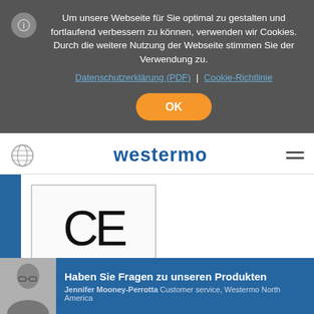Um unsere Webseite für Sie optimal zu gestalten und fortlaufend verbessern zu können, verwenden wir Cookies. Durch die weitere Nutzung der Webseite stimmen Sie der Verwendung zu.
Datenschutzerklärung (PDF) | Cookie-Richtlinie
OK
[Figure (logo): Westermo logo in bold blue text]
[Figure (logo): CE certification mark in a light grey bordered box]
mehr dazu
Haben Sie Fragen zu unseren Produkten
Jennifer Mooney-Perrotta Customer service, Westermo North America